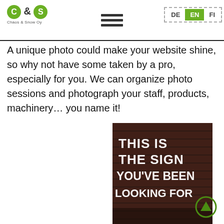[Figure (logo): C&S logo with green circles around C and S, text 'Chaos & Snow Oy' beneath]
[Figure (other): Language navigation bar with DE, EN (active/highlighted in green), FI buttons inside dashed border]
[Figure (other): Hamburger menu icon with three horizontal lines]
A unique photo could make your website shine, so why not have some taken by a pro, especially for you. We can organize photo sessions and photograph your staff, products, machinery… you name it!
[Figure (photo): Dark photo of a brick wall with neon sign text reading THIS IS THE SIGN YOU'VE BEEN LOOKING FOR]
[Figure (other): Green circle scroll-up button with upward triangle arrow]